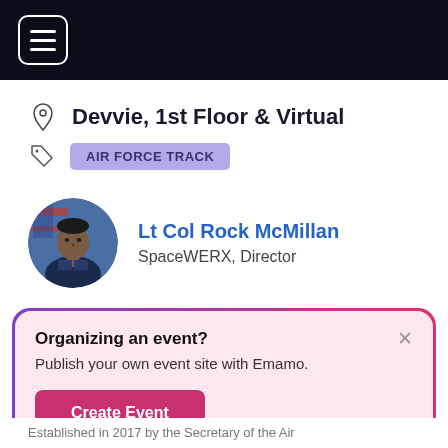[Figure (screenshot): Dark navy top navigation bar with hamburger menu icon (three horizontal lines in a rounded rectangle border)]
Devvie, 1st Floor & Virtual
AIR FORCE TRACK
[Figure (photo): Circular avatar photo of Lt Col Rock McMillan in military uniform with American flag background]
Lt Col Rock McMillan
SpaceWERX, Director
Organizing an event?
Publish your own event site with Emamo.
Create Event
Established in 2017 by the Secretary of the Air